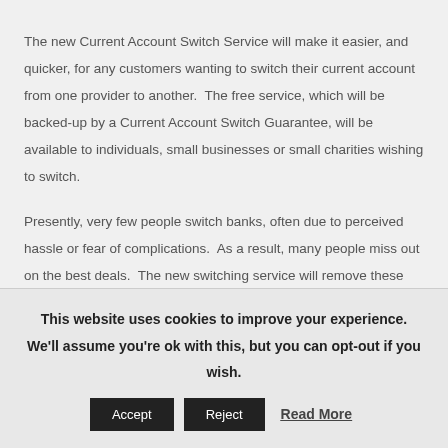The new Current Account Switch Service will make it easier, and quicker, for any customers wanting to switch their current account from one provider to another.  The free service, which will be backed-up by a Current Account Switch Guarantee, will be available to individuals, small businesses or small charities wishing to switch.
Presently, very few people switch banks, often due to perceived hassle or fear of complications.  As a result, many people miss out on the best deals.  The new switching service will remove these barriers, making the switching process simpler, reliable and hassle-free.
This website uses cookies to improve your experience. We'll assume you're ok with this, but you can opt-out if you wish.